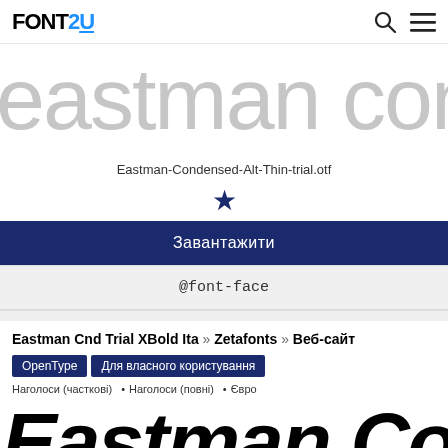FONTS2U
[Figure (illustration): Large thin condensed font preview showing 'eastman conde' in light gray]
Eastman-Condensed-Alt-Thin-trial.otf
[Figure (illustration): Dark blue star icon (favorite/rating)]
Завантажити
@font-face
Eastman Cnd Trial XBold Ita » Zetafonts » Веб-сайт
OpenType  Для власного користування
Наголоси (часткові) • Наголоси (повні) • Євро
[Figure (illustration): Large black extra-bold italic condensed font preview showing 'Eastman Conc']